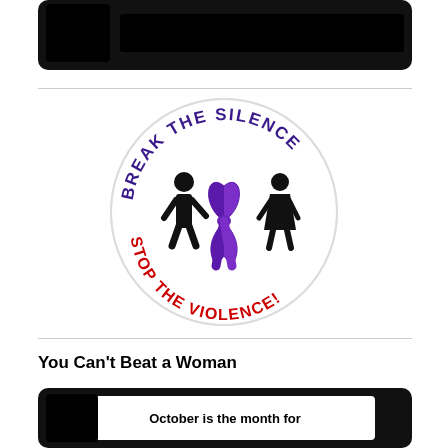[Figure (photo): Dark/black rectangular image at top of page]
[Figure (logo): Circular logo with text 'BREAK THE SILENCE' in purple arc at top and 'STOP THE VIOLENCE!' in red arc at bottom, with silhouettes of a man and woman and a purple awareness ribbon in the center]
You Can't Beat a Woman
[Figure (photo): Dark card with white inner box containing text 'October is the month for']